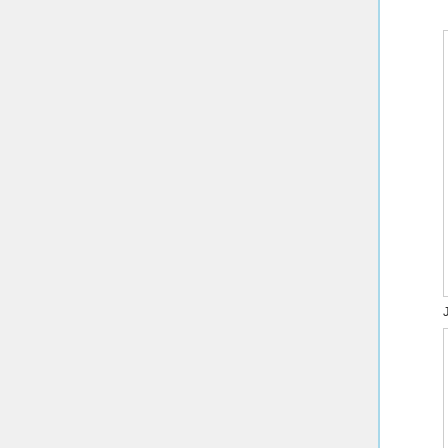[Figure (screenshot): Tekken fighting game screenshot showing Jin VS Jin battle - dark blue themed stage with two character fighters]
Jin VS Jin
[Figure (screenshot): Tekken fighting game screenshot showing Devil Jin VS Devil Jin battle - outdoor rocky stage with two devil jin fighters]
Devil Jin VS Devil Jin
Stages
[Figure (screenshot): Tekken stage screenshot showing a sci-fi/tech themed stage with green glowing symbols on the floor]